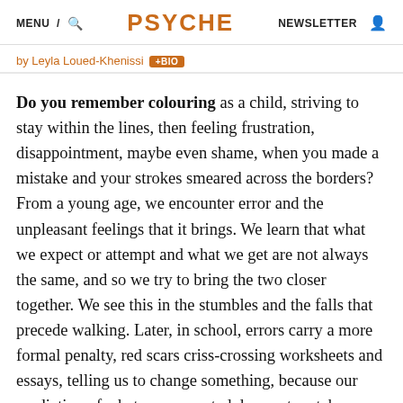MENU / 🔍   PSYCHE   NEWSLETTER 👤
by Leyla Loued-Khenissi +BIO
Do you remember colouring as a child, striving to stay within the lines, then feeling frustration, disappointment, maybe even shame, when you made a mistake and your strokes smeared across the borders? From a young age, we encounter error and the unpleasant feelings that it brings. We learn that what we expect or attempt and what we get are not always the same, and so we try to bring the two closer together. We see this in the stumbles and the falls that precede walking. Later, in school, errors carry a more formal penalty, red scars criss-crossing worksheets and essays, telling us to change something, because our prediction of what was expected does not match reality.